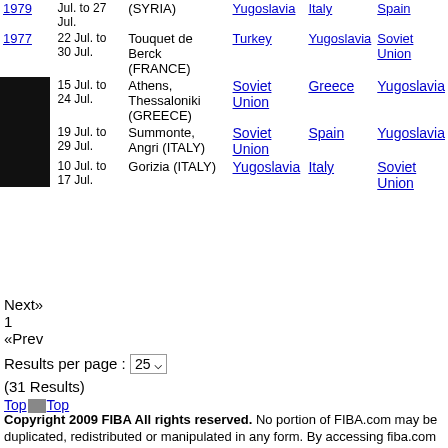| Year | Date | Venue | 1st | 2nd | 3rd |
| --- | --- | --- | --- | --- | --- |
| 1979 | Jul. to 27 Jul. | (SYRIA) | Yugoslavia | Italy | Spain |
| 1977 | 22 Jul. to 30 Jul. | Touquet de Berck (FRANCE) | Turkey | Yugoslavia | Soviet Union |
| 1975 | 15 Jul. to 24 Jul. | Athens, Thessaloniki (GREECE) | Soviet Union | Greece | Yugoslavia |
| [1973] | 19 Jul. to 29 Jul. | Summonte, Angri (ITALY) | Soviet Union | Spain | Yugoslavia |
| 1971 | 10 Jul. to 17 Jul. | Gorizia (ITALY) | Yugoslavia | Italy | Soviet Union |
Next» 1 «Prev
Results per page : 25
(31 Results)
Top Top
Copyright 2009 FIBA All rights reserved. No portion of FIBA.com may be duplicated, redistributed or manipulated in any form. By accessing fiba.com pages, you agree to abide by FIBA Copyright and legal mentions.